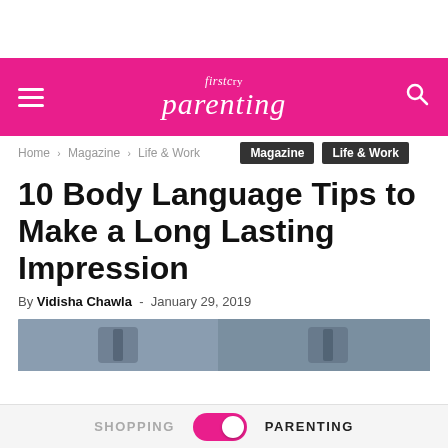firstcry Parenting
Home › Magazine › Life & Work
Magazine   Life & Work
10 Body Language Tips to Make a Long Lasting Impression
By Vidisha Chawla - January 29, 2019
[Figure (photo): Two men in suits, cropped to show chest/tie area]
SHOPPING   PARENTING